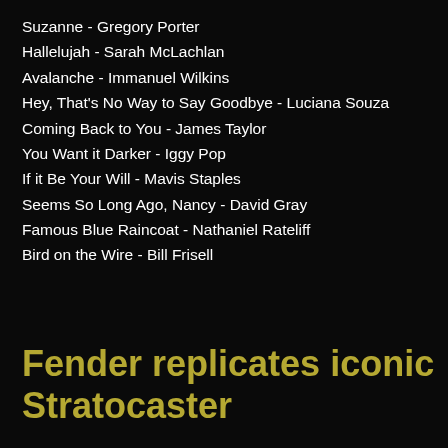Suzanne - Gregory Porter
Hallelujah - Sarah McLachlan
Avalanche - Immanuel Wilkins
Hey, That's No Way to Say Goodbye - Luciana Souza
Coming Back to You - James Taylor
You Want it Darker - Iggy Pop
If it Be Your Will - Mavis Staples
Seems So Long Ago, Nancy - David Gray
Famous Blue Raincoat - Nathaniel Rateliff
Bird on the Wire - Bill Frisell
Fender replicates iconic Stratocaster